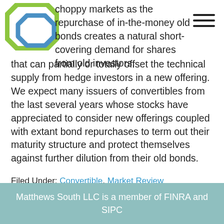[Figure (logo): Matthews South LLC logo - green and blue diamond/chain link shape]
choppy markets as the repurchase of in-the-money old bonds creates a natural short-covering demand for shares from old investors, that can partially or totally offset the technical supply from hedge investors in a new offering. We expect many issuers of convertibles from the last several years whose stocks have appreciated to consider new offerings coupled with extant bond repurchases to term out their maturity structure and protect themselves against further dilution from their old bonds.
Filed Under: Convertible, Market Review
Matthews South LLC is a member of FINRA and SIPC